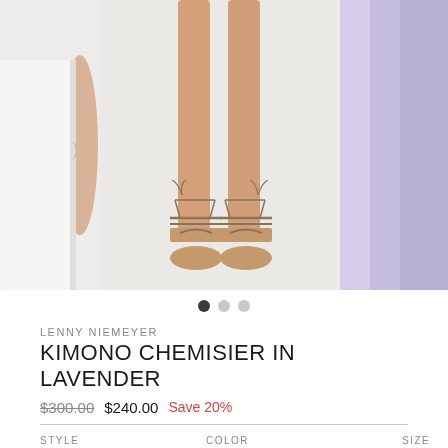[Figure (photo): Product carousel showing three panels: left panel with partial model arm/torso in white dress, center panel showing model's legs wearing tan lace-up sandals on light background, right panel showing lavender fabric/clothing on right edge.]
LENNY NIEMEYER
KIMONO CHEMISIER IN LAVENDER
$300.00  $240.00  Save 20%
STYLE   COLOR   SIZE
Dress ∨   Lavender ∨   S ∨
QUANTITY
- 1 +